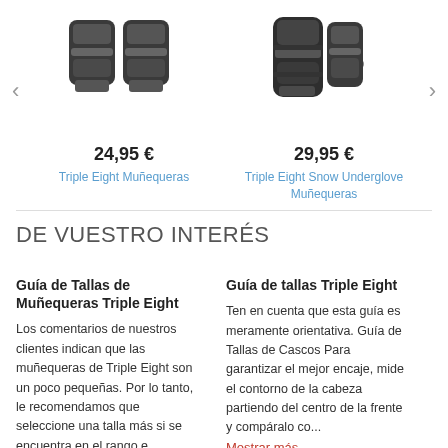[Figure (photo): Product photo of Triple Eight Muñequeras wrist guards, dark/black protective gear]
24,95 €
Triple Eight Muñequeras
[Figure (photo): Product photo of Triple Eight Snow Underglove Muñequeras wrist guards, black with logo]
29,95 €
Triple Eight Snow Underglove Muñequeras
DE VUESTRO INTERÉS
Guía de Tallas de Muñequeras Triple Eight
Los comentarios de nuestros clientes indican que las muñequeras de Triple Eight son un poco pequeñas. Por lo tanto, le recomendamos que seleccione una talla más si se encuentra en el rango e...
Guía de tallas Triple Eight
Ten en cuenta que esta guía es meramente orientativa. Guía de Tallas de Cascos Para garantizar el mejor encaje, mide el contorno de la cabeza partiendo del centro de la frente y compáralo co...
Mostrar más